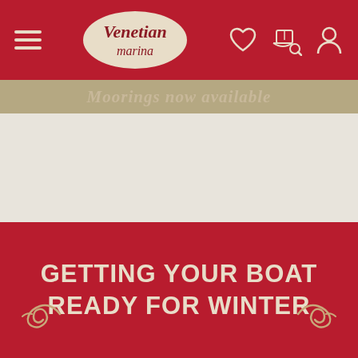[Figure (screenshot): Venetian Marina website navigation bar with hamburger menu, oval logo, heart icon, boat search icon, and user icon on dark red background]
Moorings now available
GETTING YOUR BOAT READY FOR WINTER